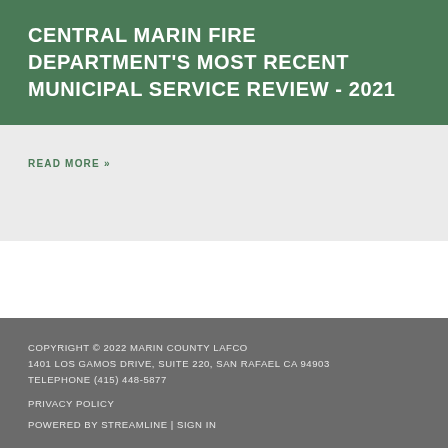CENTRAL MARIN FIRE DEPARTMENT'S MOST RECENT MUNICIPAL SERVICE REVIEW - 2021
READ MORE »
COPYRIGHT © 2022 MARIN COUNTY LAFCO
1401 LOS GAMOS DRIVE, SUITE 220, SAN RAFAEL CA 94903
TELEPHONE (415) 448-5877

PRIVACY POLICY

POWERED BY STREAMLINE | SIGN IN